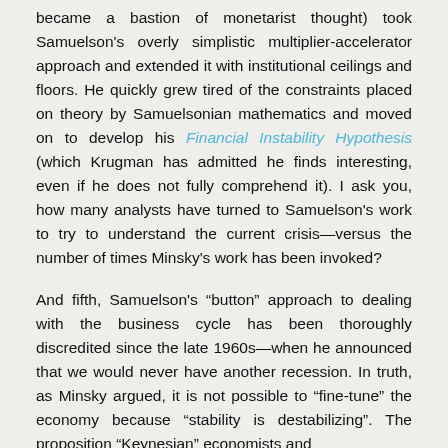became a bastion of monetarist thought) took Samuelson's overly simplistic multiplier-accelerator approach and extended it with institutional ceilings and floors. He quickly grew tired of the constraints placed on theory by Samuelsonian mathematics and moved on to develop his Financial Instability Hypothesis (which Krugman has admitted he finds interesting, even if he does not fully comprehend it). I ask you, how many analysts have turned to Samuelson's work to try to understand the current crisis—versus the number of times Minsky's work has been invoked?
And fifth, Samuelson's “button” approach to dealing with the business cycle has been thoroughly discredited since the late 1960s—when he announced that we would never have another recession. In truth, as Minsky argued, it is not possible to “fine-tune” the economy because “stability is destabilizing”. The proposition “Keynesian” economists and